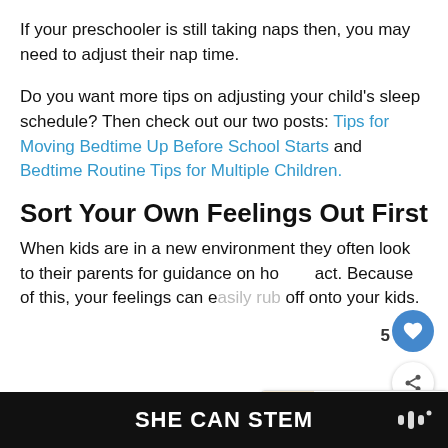If your preschooler is still taking naps then, you may need to adjust their nap time.
Do you want more tips on adjusting your child's sleep schedule? Then check out our two posts: Tips for Moving Bedtime Up Before School Starts and Bedtime Routine Tips for Multiple Children.
Sort Your Own Feelings Out First
When kids are in a new environment they often look to their parents for guidance on how to act. Because of this, your feelings can easily rub off onto your kids.
SHE CAN STEM